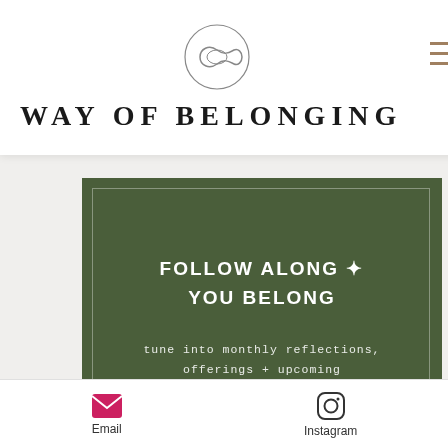[Figure (logo): Circular logo with an infinity/knot symbol inside a thin circle, above hamburger menu icon with tan/brown lines]
WAY OF BELONGING
FOLLOW ALONG ✦ YOU BELONG
tune into monthly reflections, offerings + upcoming gatherings
Email address
Email
Instagram